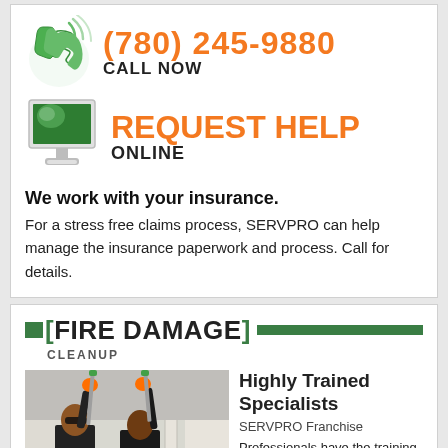[Figure (illustration): Green telephone handset icon with signal/wifi waves]
(780) 245-9880
CALL NOW
[Figure (illustration): White computer monitor with green screen]
REQUEST HELP
ONLINE
We work with your insurance.
For a stress free claims process, SERVPRO can help manage the insurance paperwork and process. Call for details.
[FIRE DAMAGE] CLEANUP
[Figure (photo): Two workers in orange gloves cleaning ceiling with long poles in a room with white walls and doors]
Highly Trained Specialists
SERVPRO Franchise
Professionals have the training and equipment to quickly restore your property to pre-fire condition.